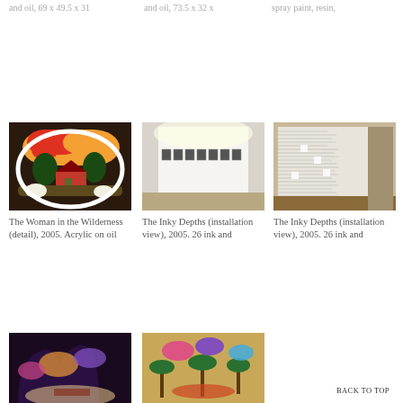and oil, 69 x 49.5 x 31
and oil, 73.5 x 32 x
spray paint, resin,
[Figure (photo): Artwork: The Woman in the Wilderness (detail), 2005. Acrylic on oil — colorful landscape painting on shaped canvas]
The Woman in the Wilderness (detail), 2005. Acrylic on oil
[Figure (photo): The Inky Depths (installation view), 2005. 26 ink and — gallery room with framed works on white walls]
The Inky Depths (installation view), 2005. 26 ink and
[Figure (photo): The Inky Depths (installation view), 2005. 26 ink and — gallery corner with large densely drawn wall mural]
The Inky Depths (installation view), 2005. 26 ink and
[Figure (photo): Installation view with illuminated cloud-like sculptural elements]
[Figure (photo): Installation view with palm trees, colorful hanging cloud sculptures]
[Figure (photo): Cloud-shaped artwork with figure inside; Back to Top button overlay]